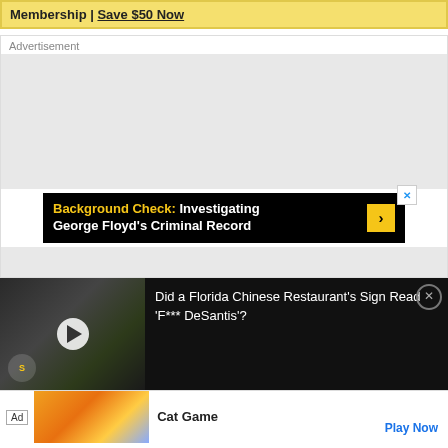Membership | Save $50 Now
Advertisement
[Figure (screenshot): Gray advertisement placeholder area]
[Figure (screenshot): Black ad banner: Background Check: Investigating George Floyd's Criminal Record with yellow arrow and X close button]
[Figure (screenshot): Video thumbnail strip on dark background showing a restaurant sign, play button, Snopes logo, and text: Did a Florida Chinese Restaurant's Sign Read 'F*** DeSantis'? with close circle button]
[Figure (screenshot): Cat Game advertisement banner with cat illustrations, Ad badge, Cat Game text, and Play Now button]